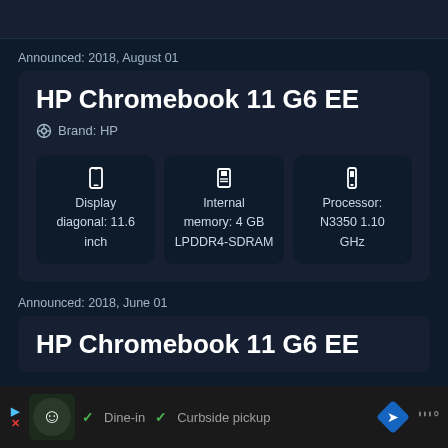[Figure (screenshot): Top navigation bar partial, dark background]
Announced: 2018, August 01
HP Chromebook 11 G6 EE
Brand: HP
Display diagonal: 11.6 inch
Internal memory: 4 GB LPDDR4-SDRAM
Processor: N3350 1.10 GHz
Announced: 2018, June 01
HP Chromebook 11 G6 EE
[Figure (screenshot): Advertisement bar at bottom: restaurant logo, Dine-in, Curbside pickup options]